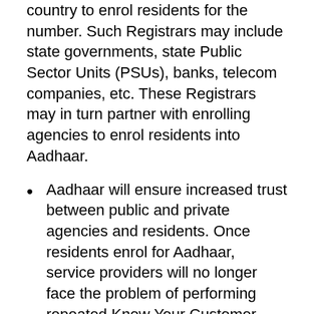country to enrol residents for the number. Such Registrars may include state governments, state Public Sector Units (PSUs), banks, telecom companies, etc. These Registrars may in turn partner with enrolling agencies to enrol residents into Aadhaar.
Aadhaar will ensure increased trust between public and private agencies and residents. Once residents enrol for Aadhaar, service providers will no longer face the problem of performing repeated Know Your Customer (KYC) checks before providing services. They would no longer have to deny services to residents without identification documents. Residents would also be spared the trouble of repeatedly proving identity through documents each time they wish to access services such as obtaining a bank account, passport, or driving license etc.
By providing a clear proof of identity, Aadhaar will